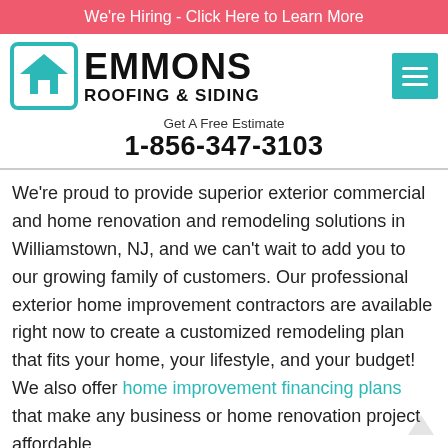We're Hiring - Click Here to Learn More
[Figure (logo): Emmons Roofing & Siding logo with teal house icon in a rounded square]
EMMONS ROOFING & SIDING
Get A Free Estimate
1-856-347-3103
We're proud to provide superior exterior commercial and home renovation and remodeling solutions in Williamstown, NJ, and we can't wait to add you to our growing family of customers. Our professional exterior home improvement contractors are available right now to create a customized remodeling plan that fits your home, your lifestyle, and your budget! We also offer home improvement financing plans that make any business or home renovation project affordable.